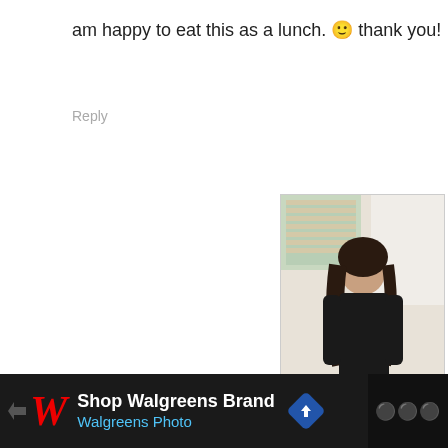am happy to eat this as a lunch. 🙂 thank you!
Reply
[Figure (photo): A woman with long dark hair wearing a black top, looking down at food she is preparing at a kitchen counter. A glass and plates are visible on the counter. Bright kitchen background with a window.]
[Figure (other): Advertisement bar at the bottom: Walgreens Brand / Walgreens Photo ad with red W logo, navigation arrow icon, and a secondary block on the right.]